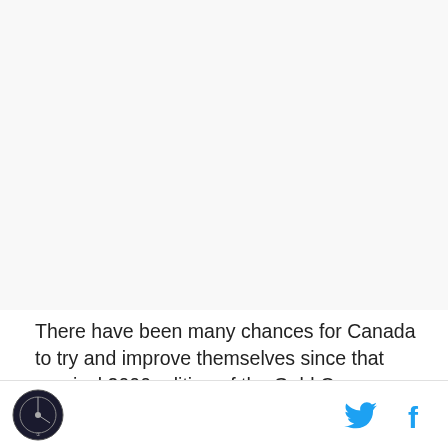[Figure (photo): Large image placeholder at the top of the article page, appears blank/white]
There have been many chances for Canada to try and improve themselves since that magical 2000 edition of the Gold Cup involving Craig Forest, Martin Nash and
Logo icon and social media icons (Twitter and Facebook)